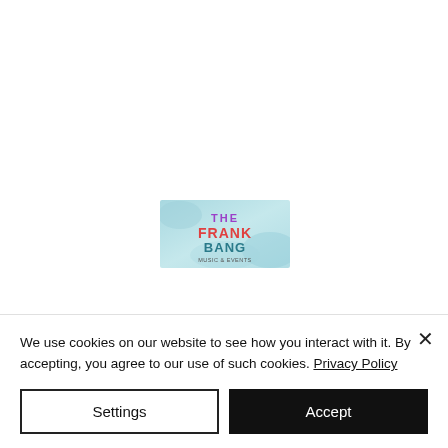[Figure (logo): The Frank Bang logo - text reading 'THE FRANK BANG' over a light blue/teal watercolor background]
We use cookies on our website to see how you interact with it. By accepting, you agree to our use of such cookies. Privacy Policy
Settings
Accept